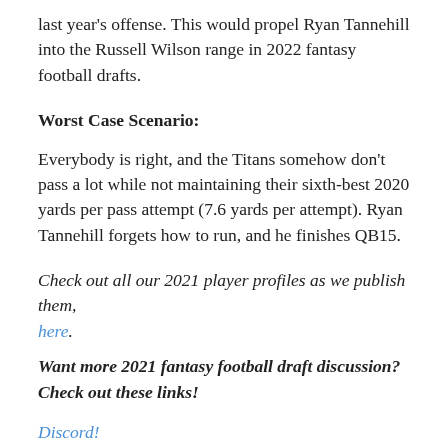last year's offense. This would propel Ryan Tannehill into the Russell Wilson range in 2022 fantasy football drafts.
Worst Case Scenario:
Everybody is right, and the Titans somehow don't pass a lot while not maintaining their sixth-best 2020 yards per pass attempt (7.6 yards per attempt). Ryan Tannehill forgets how to run, and he finishes QB15.
Check out all our 2021 player profiles as we publish them, here.
Want more 2021 fantasy football draft discussion? Check out these links!
Discord!
Podcast!
Patreon!